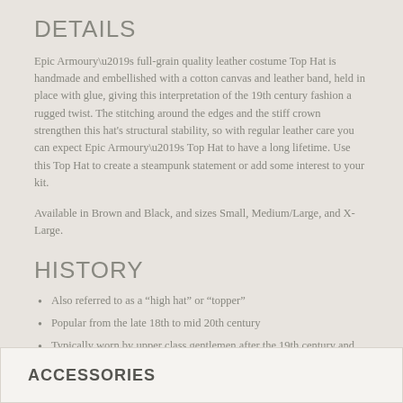DETAILS
Epic Armoury’s full-grain quality leather costume Top Hat is handmade and embellished with a cotton canvas and leather band, held in place with glue, giving this interpretation of the 19th century fashion a rugged twist. The stitching around the edges and the stiff crown strengthen this hat’s structural stability, so with regular leather care you can expect Epic Armoury’s Top Hat to have a long lifetime. Use this Top Hat to create a steampunk statement or add some interest to your kit.
Available in Brown and Black, and sizes Small, Medium/Large, and X-Large.
HISTORY
Also referred to as a “high hat” or “topper”
Popular from the late 18th to mid 20th century
Typically worn by upper class gentlemen after the 19th century and constructed using silk or expensive animal furs
ACCESSORIES